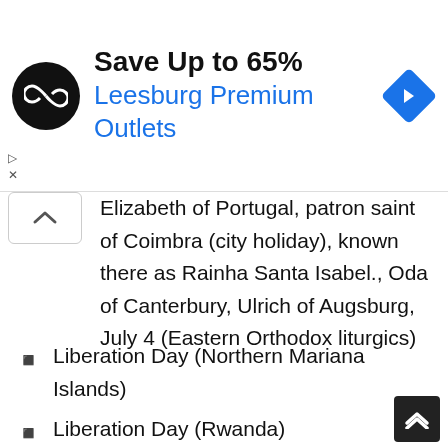[Figure (infographic): Advertisement banner: black circular logo with infinity-like symbol, text 'Save Up to 65%' in bold and 'Leesburg Premium Outlets' in blue, blue diamond navigation icon on right]
Elizabeth of Portugal, patron saint of Coimbra (city holiday), known there as Rainha Santa Isabel., Oda of Canterbury, Ulrich of Augsburg, July 4 (Eastern Orthodox liturgics)
Liberation Day (Northern Mariana Islands)
Liberation Day (Rwanda)
Independence Day, celebrates the Declaration of Independence of the